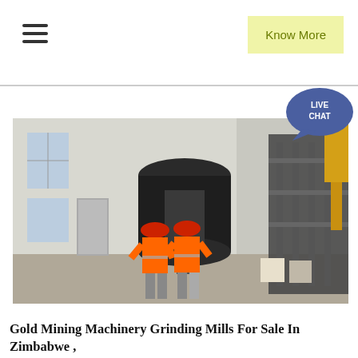Know More
[Figure (photo): Two workers in orange high-visibility vests and red hard hats standing in an industrial facility looking up at large grinding mill machinery. Silver ductwork and industrial equipment visible in the background.]
Gold Mining Machinery Grinding Mills For Sale In Zimbabwe ,